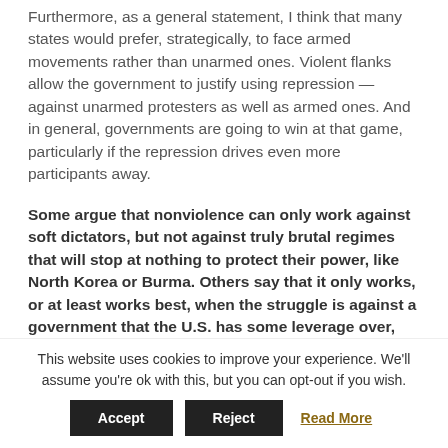Furthermore, as a general statement, I think that many states would prefer, strategically, to face armed movements rather than unarmed ones. Violent flanks allow the government to justify using repression — against unarmed protesters as well as armed ones. And in general, governments are going to win at that game, particularly if the repression drives even more participants away.
Some argue that nonviolence can only work against soft dictators, but not against truly brutal regimes that will stop at nothing to protect their power, like North Korea or Burma. Others say that it only works, or at least works best, when the struggle is against a government that the U.S. has some leverage over, like the Philippines or Egypt. What did you find in your
This website uses cookies to improve your experience. We'll assume you're ok with this, but you can opt-out if you wish.
Accept | Reject | Read More